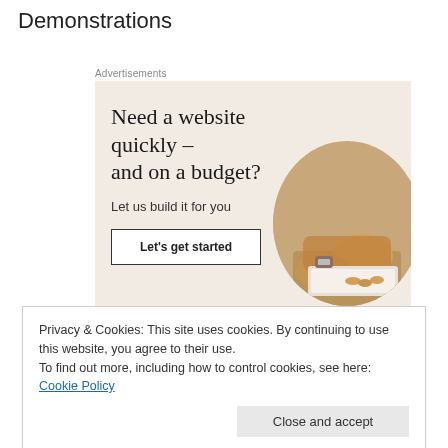Demonstrations
[Figure (screenshot): Advertisement banner with beige background. Headline: 'Need a website quickly – and on a budget?' Subtext: 'Let us build it for you'. Button: 'Let's get started'. Photo of person working on laptop in circular crop.]
Privacy & Cookies: This site uses cookies. By continuing to use this website, you agree to their use.
To find out more, including how to control cookies, see here: Cookie Policy
Close and accept